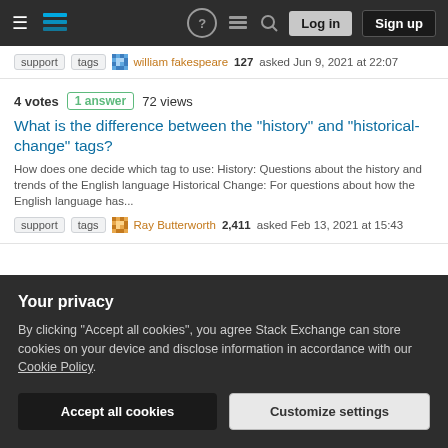Stack Exchange navigation bar with Log in and Sign up buttons
support  tags  william fakespeare 127 asked Jun 9, 2021 at 22:07
4 votes  1 answer  72 views
What is the difference between the "history" and "historical-change" tags?
How does one decide which tag to use: History: Questions about the history and trends of the English language Historical Change: For questions about how the English language has...
support  tags  Ray Butterworth 2,411 asked Feb 13, 2021 at 15:43
10 votes  1 answer (accepted)  151 views
Your privacy
By clicking "Accept all cookies", you agree Stack Exchange can store cookies on your device and disclose information in accordance with our Cookie Policy.
Accept all cookies  Customize settings